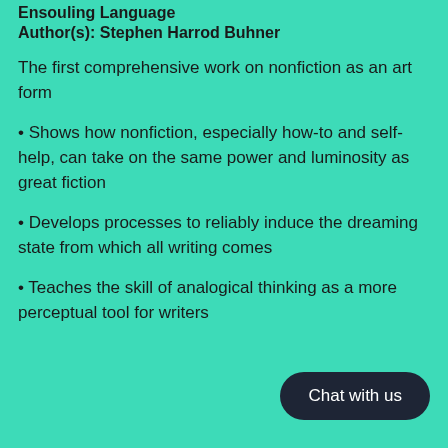Ensouling Language
Author(s): Stephen Harrod Buhner
The first comprehensive work on nonfiction as an art form
• Shows how nonfiction, especially how-to and self-help, can take on the same power and luminosity as great fiction
• Develops processes to reliably induce the dreaming state from which all writing comes
• Teaches the skill of analogical thinking as a more perceptual tool for writers